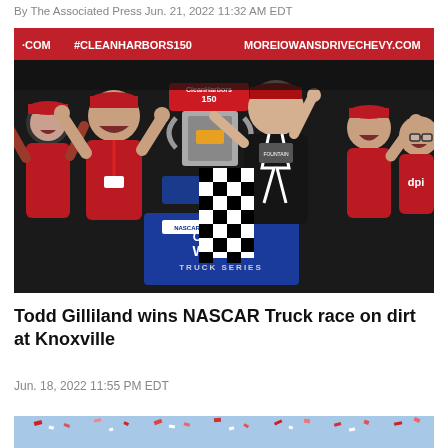By The Associated Press Jun. 21, 2022 11:32 AM EDT
[Figure (photo): NASCAR Camping World Truck Series victory celebration at Knoxville. Todd Gilliland and team members celebrate in front of Clean Harbors 150 winner trophy display. Banner reads #CLEANHARBORS150 and MOREIOWANSDRIVECHEVY.COM. NASCAR Camping World Truck Series branding visible on blue podium.]
Todd Gilliland wins NASCAR Truck race on dirt at Knoxville
Jun. 18, 2022 11:55 PM EDT
[Figure (photo): Partial bottom image showing confetti celebration scene.]